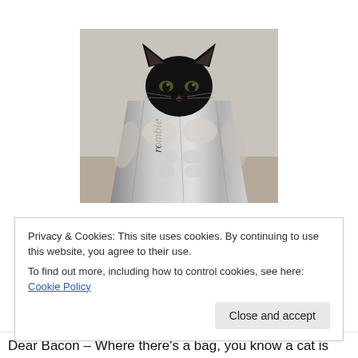[Figure (photo): A black cat with its head poking through an Abercrombie shopping bag that has a muscular male torso printed on it, creating a humorous composite image.]
Privacy & Cookies: This site uses cookies. By continuing to use this website, you agree to their use.
To find out more, including how to control cookies, see here: Cookie Policy
Close and accept
Dear Bacon – Where there's a bag, you know a cat is